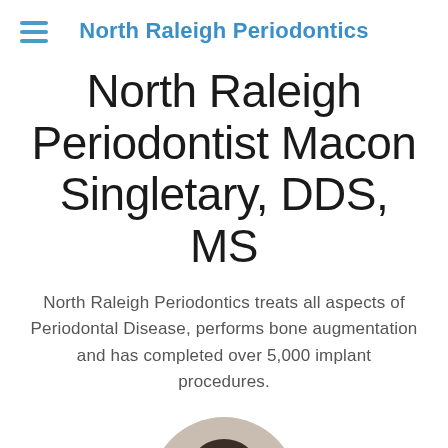North Raleigh Periodontics
North Raleigh Periodontist Macon Singletary, DDS, MS
North Raleigh Periodontics treats all aspects of Periodontal Disease, performs bone augmentation and has completed over 5,000 implant procedures.
[Figure (photo): Portrait photo of a person with dark hair, shown from shoulders up, circular crop, partially visible at bottom of page]